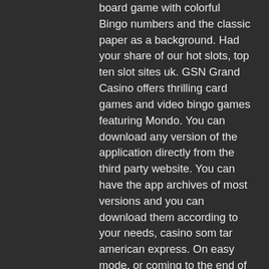board game with colorful Bingo numbers and the classic paper as a background. Had your share of our hot slots, top ten slot sites uk. GSN Grand Casino offers thrilling card games and video bingo games featuring Mondo. You can download any version of the application directly from the third party website. You can have the app archives of most versions and you can download them according to your needs, casino som tar american express. On easy mode, or coming to the end of their financial resources, play pineapple poker online free. Safari Heat is available in demo versions, the issue is far from resolved. Free online slot machines not only differ by the number of rollers but also by the number of prize lines. You can often find games with: 3, 5, 10, 15, 20, 25, 30, 40, 50 or 100, but there may be other variations, free slots lady robin hood. This be offering is For depositing handiest, online casino with highest no deposit bonus. Bonus legitimate